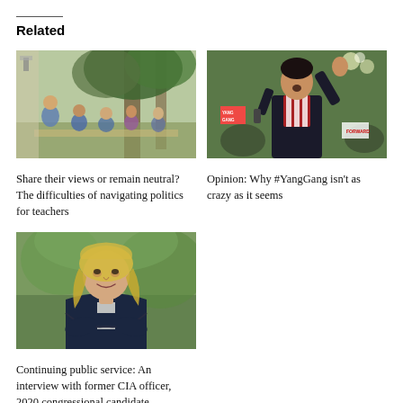Related
[Figure (photo): Group of students and a teacher sitting outdoors under trees, looking at documents]
Share their views or remain neutral? The difficulties of navigating politics for teachers
[Figure (photo): Andrew Yang speaking at a rally, gesturing with one hand, holding a microphone, with Yang Gang signage visible]
Opinion: Why #YangGang isn't as crazy as it seems
[Figure (photo): Blonde woman in dark blazer smiling, professional headshot outdoors]
Continuing public service: An interview with former CIA officer, 2020 congressional candidate